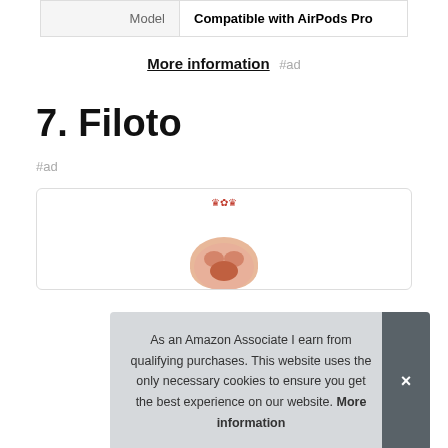| Model | Compatible with AirPods Pro |
| --- | --- |
| Model | Compatible with AirPods Pro |
More information #ad
7. Filoto
#ad
As an Amazon Associate I earn from qualifying purchases. This website uses the only necessary cookies to ensure you get the best experience on our website. More information